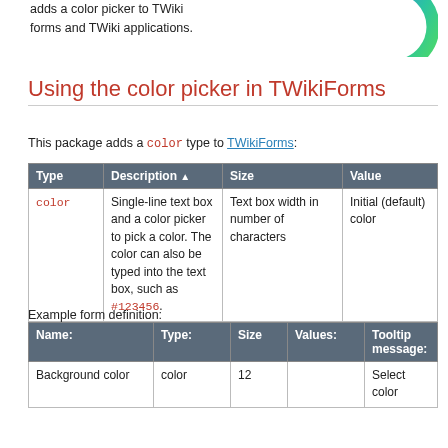adds a color picker to TWiki forms and TWiki applications.
[Figure (illustration): Partial color ring/wheel graphic showing gradient from blue to green, cropped at top-right]
Using the color picker in TWikiForms
This package adds a color type to TWikiForms:
| Type | Description ▲ | Size | Value |
| --- | --- | --- | --- |
| color | Single-line text box and a color picker to pick a color. The color can also be typed into the text box, such as #123456. | Text box width in number of characters | Initial (default) color |
Example form definition:
| Name: | Type: | Size | Values: | Tooltip message: |
| --- | --- | --- | --- | --- |
| Background color | color | 12 |  | Select color |